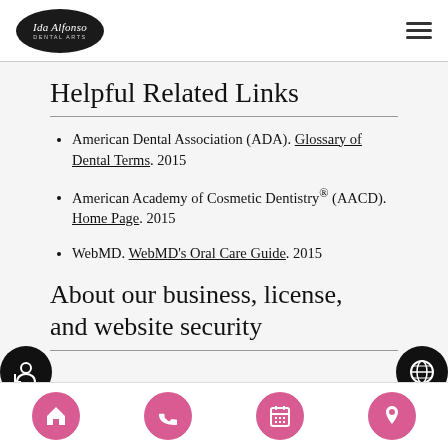Ida Alfonso Dental Arts
Helpful Related Links
American Dental Association (ADA). Glossary of Dental Terms. 2015
American Academy of Cosmetic Dentistry® (AACD). Home Page. 2015
WebMD. WebMD's Oral Care Guide. 2015
About our business, license, and website security
Navigation: Home, Phone, Calendar, Location